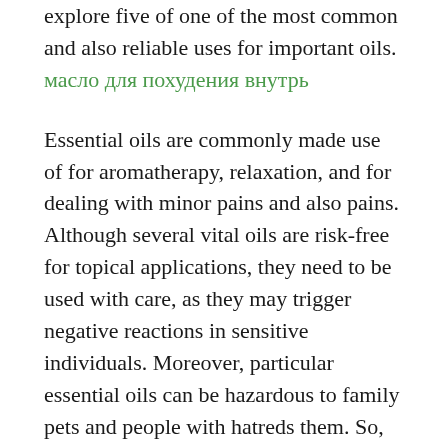explore five of one of the most common and also reliable uses for important oils. масло для похудения внутрь
Essential oils are commonly made use of for aromatherapy, relaxation, and for dealing with minor pains and also pains. Although several vital oils are risk-free for topical applications, they need to be used with care, as they may trigger negative reactions in sensitive individuals. Moreover, particular essential oils can be hazardous to family pets and people with hatreds them. So, always seek advice from your physician prior to making use of any one of these oils. If you intend to make your skin much healthier, utilize only necessary oils that are certified as secure for human consumption. чем